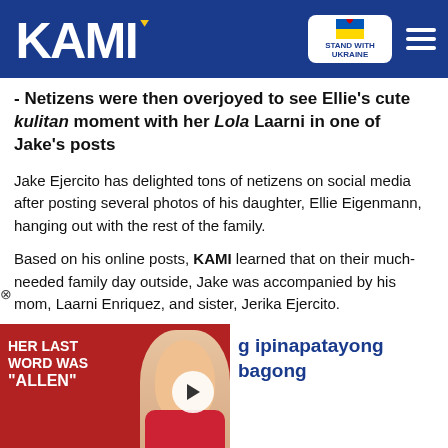KAMI — Stand With Ukraine
- Netizens were then overjoyed to see Ellie's cute kulitan moment with her Lola Laarni in one of Jake's posts
Jake Ejercito has delighted tons of netizens on social media after posting several photos of his daughter, Ellie Eigenmann, hanging out with the rest of the family.
Based on his online posts, KAMI learned that on their much-needed family day outside, Jake was accompanied by his mom, Laarni Enriquez, and sister, Jerika Ejercito.
[Figure (screenshot): Video thumbnail showing Betty White with text 'HER LAST WORD WAS "ALLEN"' and a play button. To the right partial text reads 'g ipinapatayong bagong']
[Figure (screenshot): Bottom advertisement banner with Hold and Move icons and close buttons]